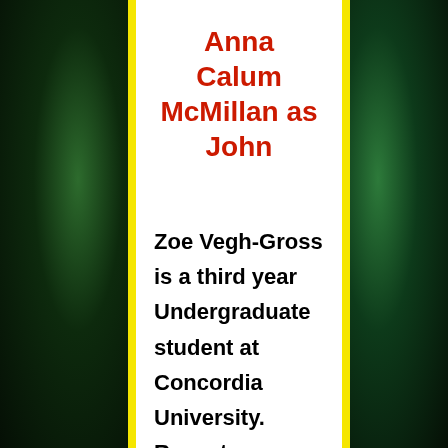Anna Calum McMillan as John
Zoe Vegh-Gross is a third year Undergraduate student at Concordia University. Recent